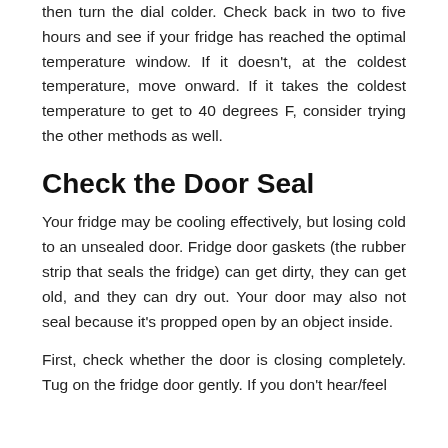then turn the dial colder. Check back in two to five hours and see if your fridge has reached the optimal temperature window. If it doesn't, at the coldest temperature, move onward. If it takes the coldest temperature to get to 40 degrees F, consider trying the other methods as well.
Check the Door Seal
Your fridge may be cooling effectively, but losing cold to an unsealed door. Fridge door gaskets (the rubber strip that seals the fridge) can get dirty, they can get old, and they can dry out. Your door may also not seal because it's propped open by an object inside.
First, check whether the door is closing completely. Tug on the fridge door gently. If you don't hear/feel